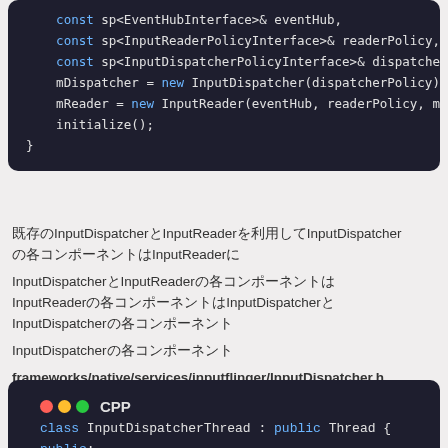[Figure (screenshot): Code block showing C++ constructor parameters and body: const sp<EventHubInterface>& eventHub, const sp<InputReaderPolicyInterface>& readerPolicy, const sp<InputDispatcherPolicyInterface>& dispatcherPolicy, mDispatcher = new InputDispatcher(dispatcherPolicy); mReader = new InputReader(eventHub, readerPolicy, mDispa..., initialize();]
既存のInputDispatcherとInputReaderを利用してInputDispatcherの各コンポーネントはInputReaderに
InputDispatcherとInputReaderの各コンポーネントはInputReaderの各コンポーネントはInputDispatcherとInputDispatcherの各コンポーネント
InputDispatcherの各コンポーネント
frameworks/native/services/inputflinger/InputDispatcher.h
[Figure (screenshot): Code block with CPP language label showing: class InputDispatcherThread : public Thread { public:]